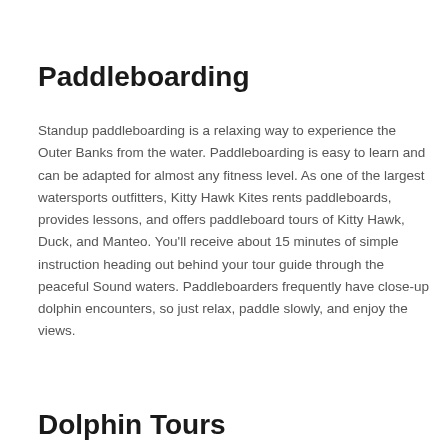Paddleboarding
Standup paddleboarding is a relaxing way to experience the Outer Banks from the water. Paddleboarding is easy to learn and can be adapted for almost any fitness level. As one of the largest watersports outfitters, Kitty Hawk Kites rents paddleboards, provides lessons, and offers paddleboard tours of Kitty Hawk, Duck, and Manteo. You'll receive about 15 minutes of simple instruction heading out behind your tour guide through the peaceful Sound waters. Paddleboarders frequently have close-up dolphin encounters, so just relax, paddle slowly, and enjoy the views.
Dolphin Tours